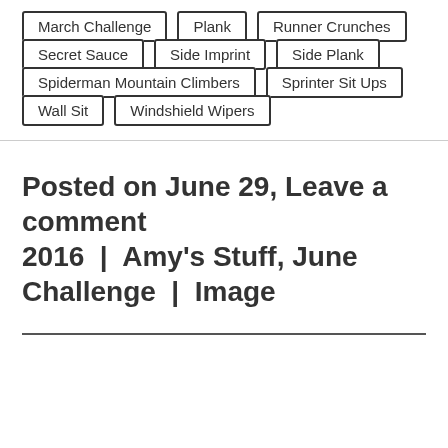March Challenge
Plank
Runner Crunches
Secret Sauce
Side Imprint
Side Plank
Spiderman Mountain Climbers
Sprinter Sit Ups
Wall Sit
Windshield Wipers
Posted on June 29, 2016 | Amy's Stuff, June Challenge | Leave a comment Image